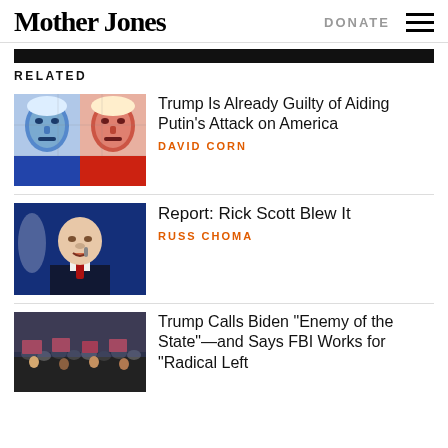Mother Jones | DONATE
RELATED
[Figure (photo): Stylized red and blue graphic depicting two male faces — Putin and Trump — in a propaganda poster style]
Trump Is Already Guilty of Aiding Putin’s Attack on America
DAVID CORN
[Figure (photo): Rick Scott, a bald man in a dark suit and red tie, speaking at a podium against a blue background]
Report: Rick Scott Blew It
RUSS CHOMA
[Figure (photo): Crowd at a political rally with signs visible]
Trump Calls Biden “Enemy of the State”—and Says FBI Works for “Radical Left